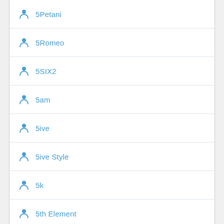5Petani
5Romeo
5SIX2
5am
5ive
5ive Style
5k
5th Element
5th Floor
5th Ward Boyz
5th Ward Juvenilez